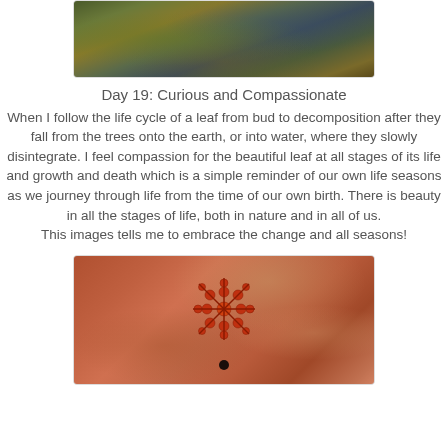[Figure (photo): Close-up photograph of autumn leaves fallen on ground or in water, showing decomposing leaves in earthy tones of green, brown, gold and blue-grey.]
Day 19:  Curious and Compassionate
When I follow the life cycle of a leaf from bud to decomposition after they fall from the trees onto the earth, or into water, where they slowly disintegrate. I feel compassion for the beautiful leaf at all stages of its life and growth and death which is a simple reminder of our own life seasons as we journey through life from the time of our own birth. There is beauty in all the stages of life, both in nature and in all of us.
This images tells me to embrace the change and all seasons!
[Figure (photo): Close-up macro photograph of an ornate red-orange snowflake or star-shaped object (possibly a starfish or decorative piece) against a blurred warm orange-brown bokeh background, with a small dark round base or stem at the bottom.]